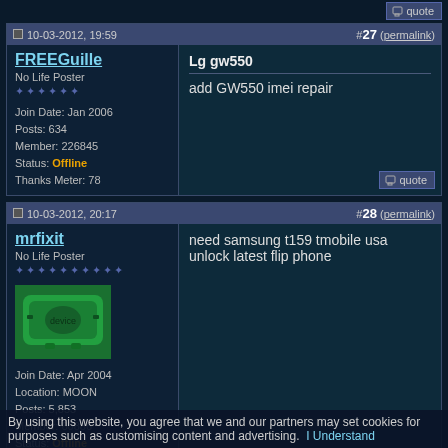quote (top button)
10-03-2012, 19:59   #27 (permalink)
FREEGuille
No Life Poster
★★★★★★
Join Date: Jan 2006
Posts: 634
Member: 226845
Status: Offline
Thanks Meter: 78
Lg gw550
add GW550 imei repair
10-03-2012, 20:17   #28 (permalink)
mrfixit
No Life Poster
★★★★★★★★★★
Join Date: Apr 2004
Location: MOON
Posts: 5,853
Member: 60886
Status: Offline
Thanks Meter: 78
[Figure (photo): Green device/gadget avatar image for user mrfixit]
need samsung t159 tmobile usa unlock latest flip phone
By using this website, you agree that we and our partners may set cookies for purposes such as customising content and advertising. I Understand